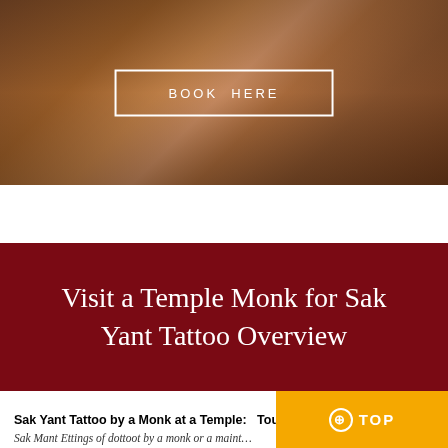[Figure (photo): Close-up photo of hands performing a Sak Yant tattoo, with tattooing needle/rod on skin, warm brown tones]
BOOK HERE
Visit a Temple Monk for Sak Yant Tattoo Overview
Sak Yant Tattoo by a Monk at a Temple:   Tour...
⊕ TOP